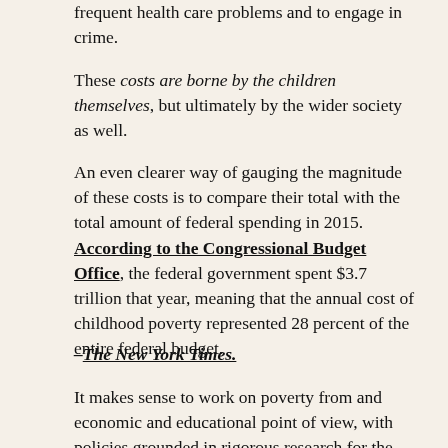frequent health care problems and to engage in crime.
These costs are borne by the children themselves, but ultimately by the wider society as well.
An even clearer way of gauging the magnitude of these costs is to compare their total with the total amount of federal spending in 2015. According to the Congressional Budget Office, the federal government spent $3.7 trillion that year, meaning that the annual cost of childhood poverty represented 28 percent of the entire federal budget.
–The New York Times.
It makes sense to work on poverty from and economic and educational point of view, with policies grounded in rigorous research for the benefit of all children.